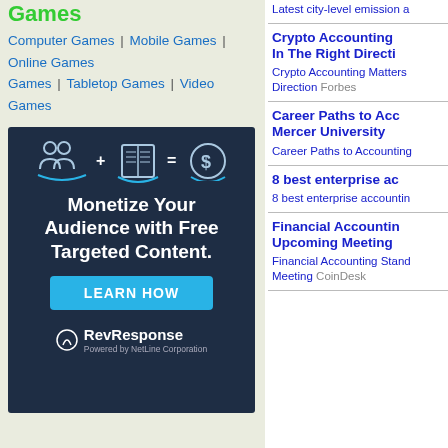Games
Computer Games | Mobile Games | Online Games | Tabletop Games | Video Games
[Figure (illustration): RevResponse advertisement: icons of people, book, dollar sign with equation. Text: Monetize Your Audience with Free Targeted Content. LEARN HOW button. RevResponse logo powered by NetLine Corporation.]
Crypto Accounting In The Right Direction
Crypto Accounting Matters In The Right Direction Forbes
Career Paths to Accounting Mercer University
Career Paths to Accounting
8 best enterprise accounting
8 best enterprise accounting
Financial Accounting Upcoming Meeting
Financial Accounting Standards Meeting CoinDesk